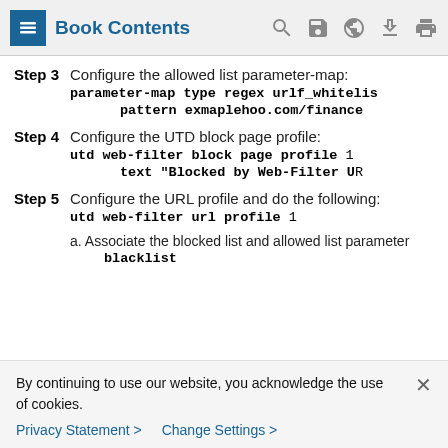Book Contents
Step 3  Configure the allowed list parameter-map:
parameter-map type regex urlf_whiteli...
  pattern exmaplehoo.com/financ...
Step 4  Configure the UTD block page profile:
utd web-filter block page profile 1
  text "Blocked by Web-Filter U..."
Step 5  Configure the URL profile and do the following:
utd web-filter url profile 1
a. Associate the blocked list and allowed list parameter
blacklist
By continuing to use our website, you acknowledge the use of cookies.
Privacy Statement > Change Settings >